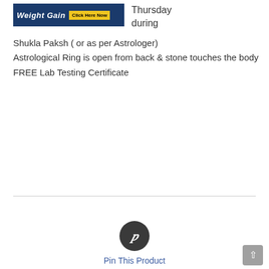[Figure (illustration): Advertisement banner with dark blue background showing 'Weight Gain' text in white italic bold letters and a yellow 'Click Here Now' button]
Thursday during
Shukla Paksh ( or as per Astrologer)
Astrological Ring is open from back & stone touches the body
FREE Lab Testing Certificate
[Figure (logo): Pinterest circular icon - dark grey circle with white italic P letter]
Pin This Product